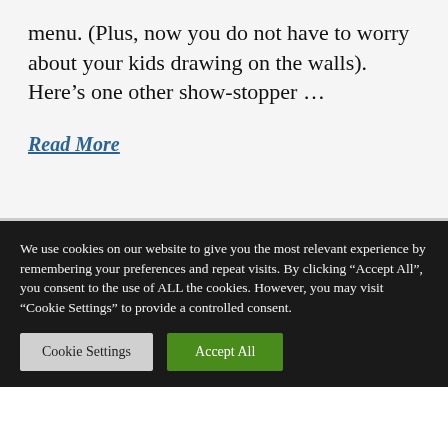menu. (Plus, now you do not have to worry about your kids drawing on the walls). Here's one other show-stopper ...
Read More
We use cookies on our website to give you the most relevant experience by remembering your preferences and repeat visits. By clicking "Accept All", you consent to the use of ALL the cookies. However, you may visit "Cookie Settings" to provide a controlled consent.